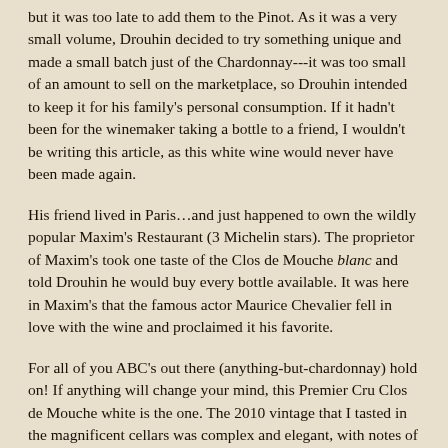but it was too late to add them to the Pinot. As it was a very small volume, Drouhin decided to try something unique and made a small batch just of the Chardonnay---it was too small of an amount to sell on the marketplace, so Drouhin intended to keep it for his family's personal consumption. If it hadn't been for the winemaker taking a bottle to a friend, I wouldn't be writing this article, as this white wine would never have been made again.
His friend lived in Paris…and just happened to own the wildly popular Maxim's Restaurant (3 Michelin stars). The proprietor of Maxim's took one taste of the Clos de Mouche blanc and told Drouhin he would buy every bottle available. It was here in Maxim's that the famous actor Maurice Chevalier fell in love with the wine and proclaimed it his favorite.
For all of you ABC's out there (anything-but-chardonnay) hold on! If anything will change your mind, this Premier Cru Clos de Mouche white is the one. The 2010 vintage that I tasted in the magnificent cellars was complex and elegant, with notes of citrus intermingling with floral,